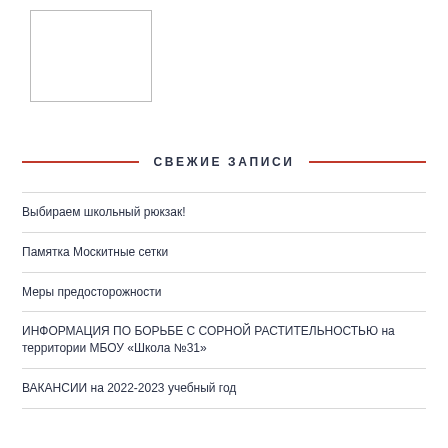[Figure (other): Blank placeholder image box with border]
СВЕЖИЕ ЗАПИСИ
Выбираем школьный рюкзак!
Памятка Москитные сетки
Меры предосторожности
ИНФОРМАЦИЯ ПО БОРЬБЕ С СОРНОЙ РАСТИТЕЛЬНОСТЬЮ на территории МБОУ «Школа №31»
ВАКАНСИИ на 2022-2023 учебный год